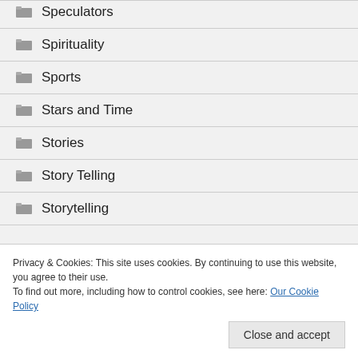Speculators
Spirituality
Sports
Stars and Time
Stories
Story Telling
Storytelling
Privacy & Cookies: This site uses cookies. By continuing to use this website, you agree to their use.
To find out more, including how to control cookies, see here: Our Cookie Policy